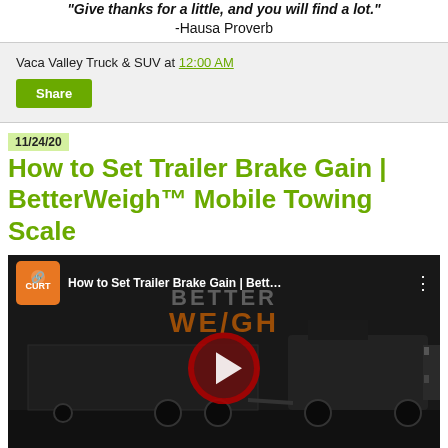"Give thanks for a little, and you will find a lot." -Hausa Proverb
Vaca Valley Truck & SUV at 12:00 AM
Share
11/24/20
How to Set Trailer Brake Gain | BetterWeigh™ Mobile Towing Scale
[Figure (screenshot): YouTube video thumbnail for 'How to Set Trailer Brake Gain | Bett...' by CURT, showing a dark truck and trailer scene with BETTERWEIGH watermark and YouTube play button overlay.]